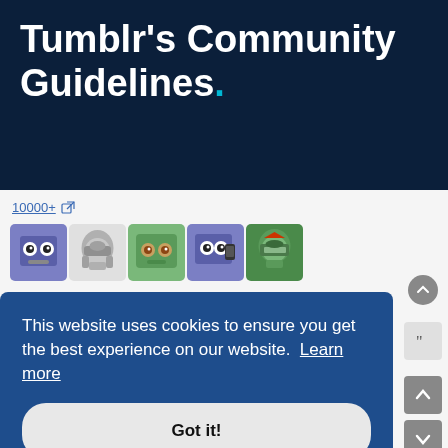Tumblr's Community Guidelines.
10000+
[Figure (illustration): Row of cartoon avatar icons: purple robot face, grey mandalorian helmet, green alien face, purple robot with phone, green Boba Fett helmet]
This website uses cookies to ensure you get the best experience on our website. Learn more
Got it!